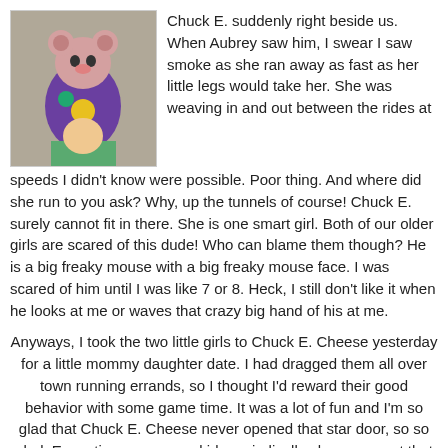[Figure (photo): Photo of a child with Chuck E. Cheese mascot costume character, wearing colorful clothes]
Chuck E. suddenly right beside us. When Aubrey saw him, I swear I saw smoke as she ran away as fast as her little legs would take her. She was weaving in and out between the rides at speeds I didn't know were possible. Poor thing. And where did she run to you ask? Why, up the tunnels of course! Chuck E. surely cannot fit in there. She is one smart girl. Both of our older girls are scared of this dude! Who can blame them though? He is a big freaky mouse with a big freaky mouse face. I was scared of him until I was like 7 or 8. Heck, I still don't like it when he looks at me or waves that crazy big hand of his at me.
Anyways, I took the two little girls to Chuck E. Cheese yesterday for a little mommy daughter date. I had dragged them all over town running errands, so I thought I'd reward their good behavior with some game time. It was a lot of fun and I'm so glad that Chuck E. Cheese never opened that star door, so so glad. Every time we go, my kids periodically glance over at that dreaded door just to make sure it doesn't open. It has become a scary thing.....that star